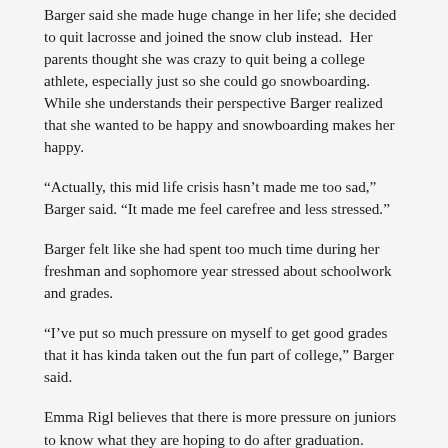Barger said she made huge change in her life; she decided to quit lacrosse and joined the snow club instead.  Her parents thought she was crazy to quit being a college athlete, especially just so she could go snowboarding. While she understands their perspective Barger realized that she wanted to be happy and snowboarding makes her happy.
“Actually, this mid life crisis hasn’t made me too sad,” Barger said. “It made me feel carefree and less stressed.”
Barger felt like she had spent too much time during her freshman and sophomore year stressed about schoolwork and grades.
“I’ve put so much pressure on myself to get good grades that it has kinda taken out the fun part of college,” Barger said.
Emma Rigl believes that there is more pressure on juniors to know what they are hoping to do after graduation.
“Junior year comes along and it feels like you really have to know what you want or else you’re behind,” said the junior business major.
Rigl also felt anxious that she was too late into the internship game compared to her friends; most of them already had extensive internship experience. Rigl turned her anxiety into